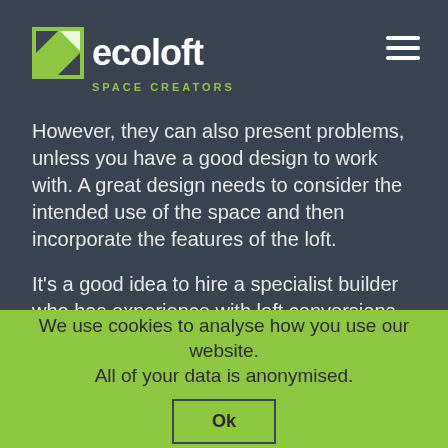[Figure (logo): Ecoloft Space Creators logo with green geometric icon and white text]
However, they can also present problems, unless you have a good design to work with. A great design needs to consider the intended use of the space and then incorporate the features of the loft.
It's a good idea to hire a specialist builder who has experience with loft conversions. And an architect to review the drawings of your conversion plan is also a good idea. Adding in a builder and an architect do add to the cost of the loft conversion
We use cookies to analyse how you use our website. All of your data is anonymised.  Ok